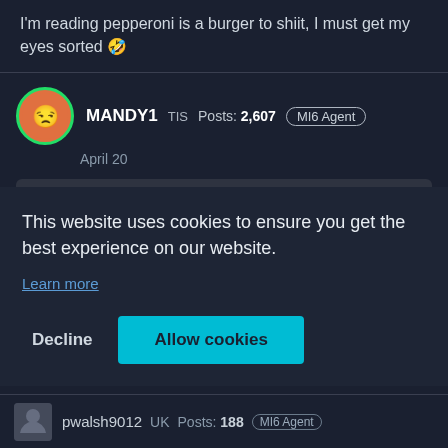I'm reading pepperoni is a burger to shiit, I must get my eyes sorted 🤣
MANDY1  TIS  Posts: 2,607  MI6 Agent
April 20
danjaq_0ff  Apr 20, 2022
https://www.ajb007.co.uk/discussion/comment/104316
This website uses cookies to ensure you get the best experience on our website.
Learn more
Decline
Allow cookies
pwalsh9012  UK  Posts: 188  MI6 Agent